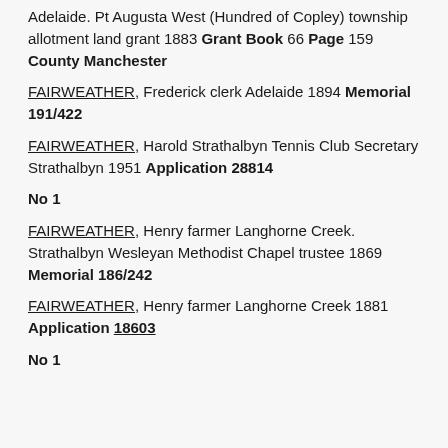Adelaide. Pt Augusta West (Hundred of Copley) township allotment land grant 1883 Grant Book 66 Page 159 County Manchester
FAIRWEATHER, Frederick clerk Adelaide 1894 Memorial 191/422
FAIRWEATHER, Harold Strathalbyn Tennis Club Secretary Strathalbyn 1951 Application 28814
No 1
FAIRWEATHER, Henry farmer Langhorne Creek. Strathalbyn Wesleyan Methodist Chapel trustee 1869 Memorial 186/242
FAIRWEATHER, Henry farmer Langhorne Creek 1881 Application 18603
No 1